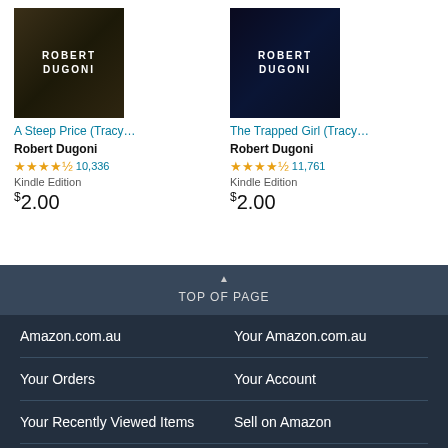[Figure (photo): Book cover for A Steep Price (Tracy...) by Robert Dugoni - dark background with author name]
A Steep Price (Tracy…)
Robert Dugoni
4.5 stars, 10,336 reviews
Kindle Edition
$2.00
[Figure (photo): Book cover for The Trapped Girl (Tracy...) by Robert Dugoni - dark blue background with author name]
The Trapped Girl (Tracy…)
Robert Dugoni
4.5 stars, 11,761 reviews
Kindle Edition
$2.00
TOP OF PAGE
Amazon.com.au
Your Amazon.com.au
Your Orders
Your Account
Your Recently Viewed Items
Sell on Amazon
Returns
1-Click Settings